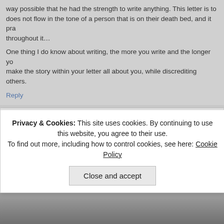way possible that he had the strength to write anything. This letter is too... does not flow in the tone of a person that is on their death bed, and it pra... throughout it…
One thing I do know about writing, the more you write and the longer yo... make the story within your letter all about you, while discrediting others.
Reply
Comment from lovie
Posted at: April 21, 2010 at 6:36 am
And this is the video link were Solar talks about meeting Guru and wha... he met him (working with homeless children)
Guru never said anything about working with children, that is Solar who... are his words in that letter, he got lost in that letter and starting conveyin... that letter….
He even goes as far as to talk repetitively about Guru and his situation w... group…..pffft….someone lock these criminals up….before something ha... child
Privacy & Cookies: This site uses cookies. By continuing to use this website, you agree to their use.
To find out more, including how to control cookies, see here: Cookie Policy
Close and accept